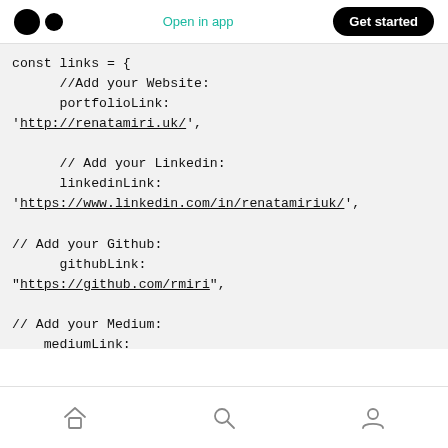Open in app | Get started
const links = {
      //Add your Website:
      portfolioLink:
'http://renatamiri.uk/',

      // Add your Linkedin:
      linkedinLink:
'https://www.linkedin.com/in/renatamiriuk/',

// Add your Github:
      githubLink:
"https://github.com/rmiri",

// Add your Medium:
    mediumLink:
"https://medium.com/@r.miriuk",
Home | Search | Profile